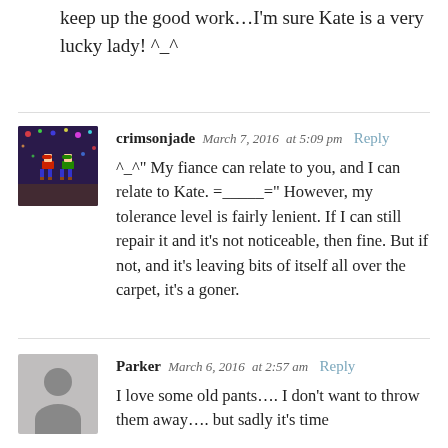keep up the good work…I'm sure Kate is a very lucky lady! ^_^
crimsonjade  March 7, 2016  at 5:09 pm  Reply
^_^” My fiance can relate to you, and I can relate to Kate. =_____=” However, my tolerance level is fairly lenient. If I can still repair it and it’s not noticeable, then fine. But if not, and it’s leaving bits of itself all over the carpet, it’s a goner.
Parker  March 6, 2016  at 2:57 am  Reply
I love some old pants…. I don’t want to throw them away…. but sadly it’s time